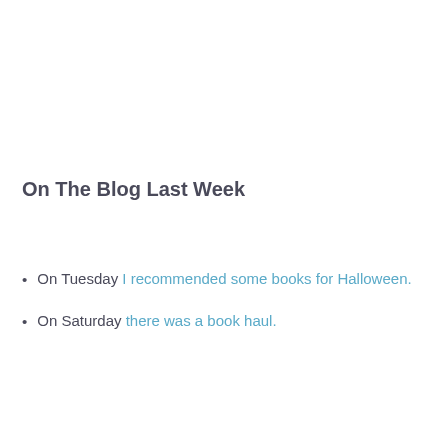On The Blog Last Week
On Tuesday I recommended some books for Halloween.
On Saturday there was a book haul.